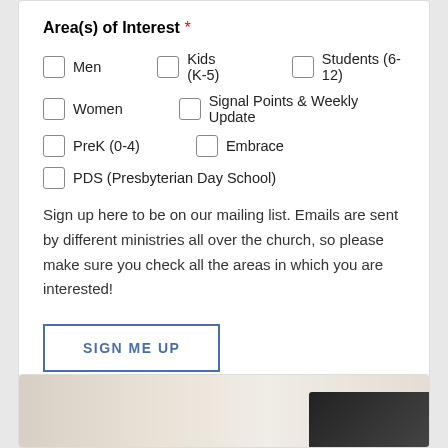Area(s) of Interest *
Men
Kids (K-5)
Students (6-12)
Women
Signal Points & Weekly Update
PreK (0-4)
Embrace
PDS (Presbyterian Day School)
Sign up here to be on our mailing list. Emails are sent by different ministries all over the church, so please make sure you check all the areas in which you are interested!
SIGN ME UP
[Figure (photo): Partial photo showing a wooden surface with dark object, partially visible at bottom of page]